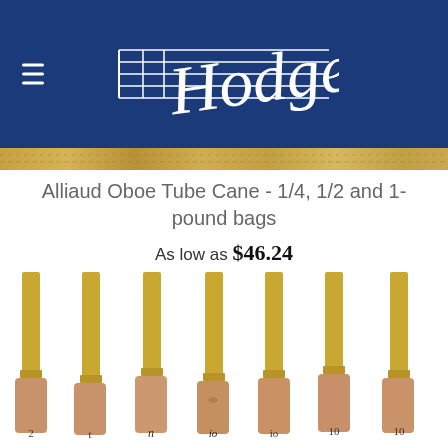Hodge (logo with musical staff)
Alliaud Oboe Tube Cane - 1/4, 1/2 and 1-pound bags
As low as $46.24
[Figure (photo): Seven oboe tube cane pieces with golden metal tubes and cork bases, arranged side by side showing numbered markings]